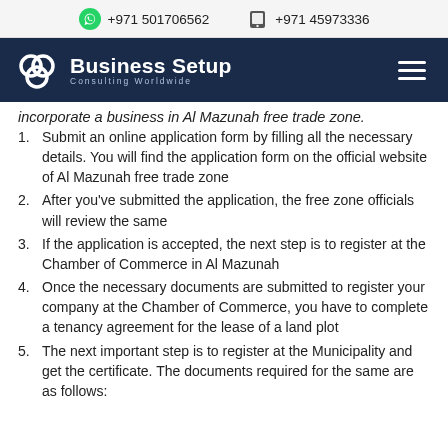+971 501706562   +971 45973336
[Figure (logo): Business Setup Consulting Worldwide logo with navigation bar on dark blue background]
incorporate a business in Al Mazunah free trade zone.
Submit an online application form by filling all the necessary details. You will find the application form on the official website of Al Mazunah free trade zone
After you've submitted the application, the free zone officials will review the same
If the application is accepted, the next step is to register at the Chamber of Commerce in Al Mazunah
Once the necessary documents are submitted to register your company at the Chamber of Commerce, you have to complete a tenancy agreement for the lease of a land plot
The next important step is to register at the Municipality and get the certificate. The documents required for the same are as follows: